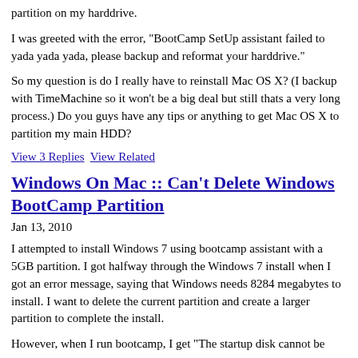partition on my harddrive.
I was greeted with the error, "BootCamp SetUp assistant failed to yada yada yada, please backup and reformat your harddrive."
So my question is do I really have to reinstall Mac OS X? (I backup with TimeMachine so it won't be a big deal but still thats a very long process.) Do you guys have any tips or anything to get Mac OS X to partition my main HDD?
View 3 Replies   View Related
Windows On Mac :: Can't Delete Windows BootCamp Partition
Jan 13, 2010
I attempted to install Windows 7 using bootcamp assistant with a 5GB partition. I got halfway through the Windows 7 install when I got an error message, saying that Windows needs 8284 megabytes to install. I want to delete the current partition and create a larger partition to complete the install.
However, when I run bootcamp, I get "The startup disk cannot be